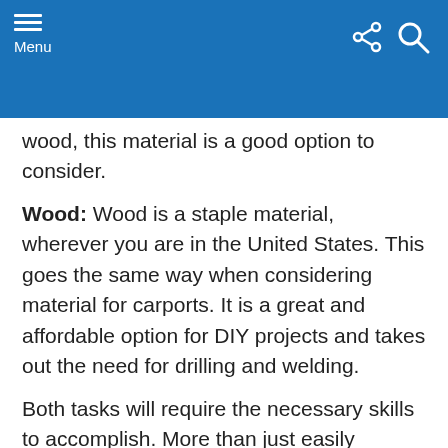Menu
wood, this material is a good option to consider.
Wood: Wood is a staple material, wherever you are in the United States. This goes the same way when considering material for carports. It is a great and affordable option for DIY projects and takes out the need for drilling and welding.
Both tasks will require the necessary skills to accomplish. More than just easily manageable, it has this classic look that's aesthetically pleasing. The drawback with wood carports though is that they are less durable than metal and you will need to coat them once in a way to lengthen their lifespan to a